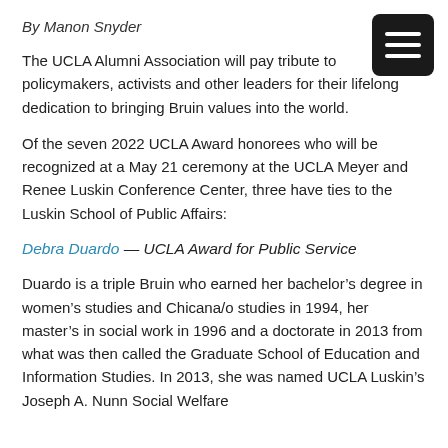By Manon Snyder
The UCLA Alumni Association will pay tribute to policymakers, activists and other leaders for their lifelong dedication to bringing Bruin values into the world.
Of the seven 2022 UCLA Award honorees who will be recognized at a May 21 ceremony at the UCLA Meyer and Renee Luskin Conference Center, three have ties to the Luskin School of Public Affairs:
Debra Duardo — UCLA Award for Public Service
Duardo is a triple Bruin who earned her bachelor’s degree in women’s studies and Chicana/o studies in 1994, her master’s in social work in 1996 and a doctorate in 2013 from what was then called the Graduate School of Education and Information Studies. In 2013, she was named UCLA Luskin’s Joseph A. Nunn Social Welfare